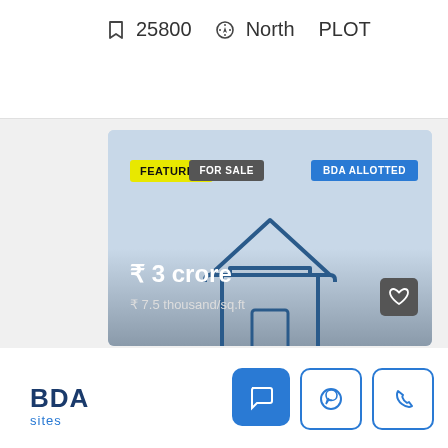25800  North  PLOT
[Figure (screenshot): Property listing card showing 'Photo not available' placeholder with house icon, FEATURED badge, FOR SALE badge, BDA ALLOTTED badge, price ₹ 3 crore, ₹ 7.5 thousand/sq.ft]
₹ 3 crore
₹ 7.5 thousand/sq.ft
[Figure (logo): BDA sites logo in dark blue and blue]
BDA sites